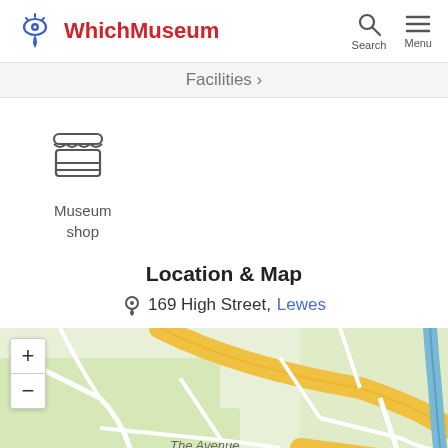WhichMuseum  Search  Menu
Facilities
[Figure (illustration): Museum shop icon: a storefront/shop icon with awning and shelves]
Museum shop
Location & Map
169 High Street, Lewes
[Figure (map): OpenStreetMap tile showing Lewes town area with streets including The Avenue and Paddock Lane. A blue location pin marker is placed near the center. Yellow roads visible, with a blue river on the right. Map has zoom + and - controls in top left.]